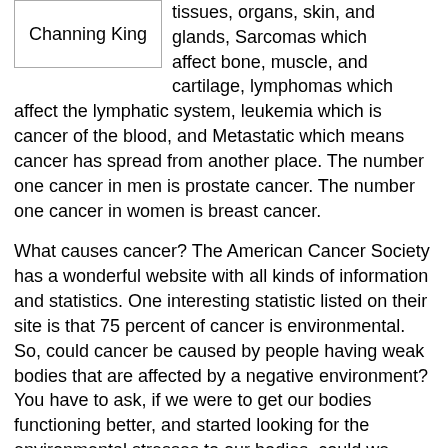| Channing King | tissues, organs, skin, and glands, Sarcomas which affect bone, muscle, and cartilage, lymphomas which affect the lymphatic system, leukemia which is cancer of the blood, and Metastatic which means cancer has spread from another place. The number one cancer in men is prostate cancer. The number one cancer in women is breast cancer. |
What causes cancer? The American Cancer Society has a wonderful website with all kinds of information and statistics. One interesting statistic listed on their site is that 75 percent of cancer is environmental. So, could cancer be caused by people having weak bodies that are affected by a negative environment? You have to ask, if we were to get our bodies functioning better, and started looking for the environmental stresses to our bodies, could we prevent cancer? One thing I have learned is that it is always better to get to the cause of a problem rather than always dealing with the effects.
Toxins, as you can imagine, tend to cause cell damage. These toxins can be found in the foods…